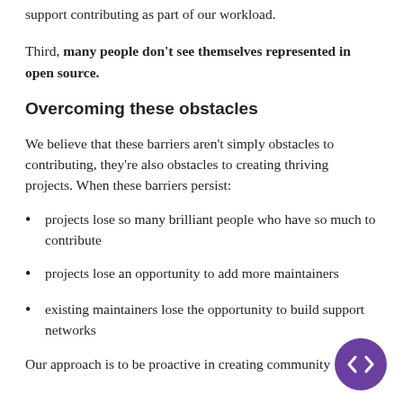support contributing as part of our workload.
Third, many people don't see themselves represented in open source.
Overcoming these obstacles
We believe that these barriers aren't simply obstacles to contributing, they're also obstacles to creating thriving projects. When these barriers persist:
projects lose so many brilliant people who have so much to contribute
projects lose an opportunity to add more maintainers
existing maintainers lose the opportunity to build support networks
Our approach is to be proactive in creating community